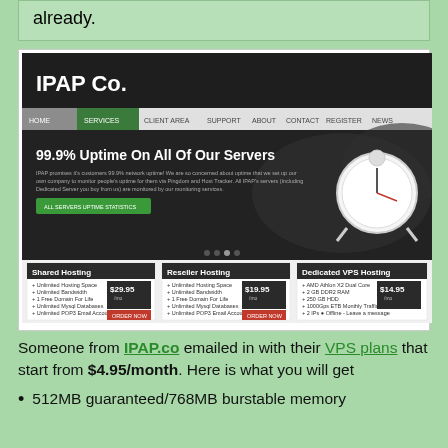already.
[Figure (screenshot): Screenshot of IPAP Co. web hosting website showing navigation bar, a '99.9% Uptime On All Of Our Servers' banner with a clock image, and hosting plan cards for Shared Hosting ($29.95/mo), Reseller Hosting ($19.95/mo), and Dedicated VPS Hosting ($14.95/mo).]
Someone from IPAP.co emailed in with their VPS plans that start from $4.95/month. Here is what you will get
512MB guaranteed/768MB burstable memory